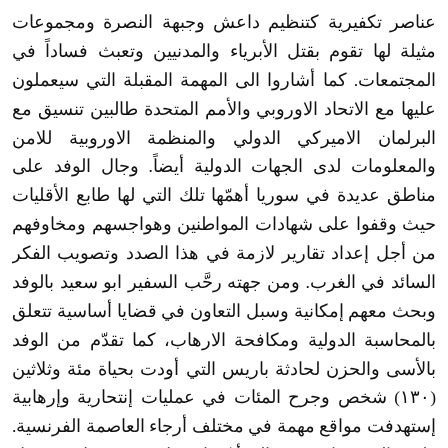عناصر تكفيرية كتنظيم داعش وجبهة النصرة ومجموعات مثيلة لها تقوم بقتل الأبرياء والمدنيين وتعبث فساداً في المجتمعات. كما أشاروا الى المهمة المقبلة التي سيعملون عليها مع الاتحاد الاوروبي والأمم المتحدة طالبين تنسيق مع البرلمان الاميركي الدولي والمنظمة الاوروبية للامن والمعلومات لدى الجهات الدولية أيضاً. وجال الوفد على مناطق عديدة في سوريا أهمّها تلك التي لها طابع الأقليات حيث وقفوا على شهادات المواطنين وهواجسهم ومخاوفهم من أجل إعداد تقارير لازمة في هذا الصدد وتصويب الفكر السائد في الغرب. ومن جهته رحَّب السفير ابو سعيد بالوفد وبحث معهم إمكانية وسبل التعاون في قضايا أساسية تتعلق بالمحاسبة الدولية ومكافحة الارهاب، كما تقدّم من الوفد بالأسى والحزن لحادثة باريس التي أودت بحياة مئة وثلاثين (١٣٠) شخص وجرح المئات في عمليات إنتحارية وإرهابية إستهدفت مواقع مهمة في مختلف أرجاء العاصمة الفرنسية. ولفت السفير ابو سعيد إلى أنّ ما حصل وقد يحصل في دول أخرى في أوروبا ناتج عن سوء تقدير وجدية التعاطي مع تلك المجموعات التي إنطلقت من دول عربية وإسلامية، وهذا نموذج عن الوضع الحاصل في سوريا والعراق واليمن ومصر وليبيا والتي هي على مدار الساعات عُرضة لأحداث شبيهة. كما حذَّر الدكتور ابو سعيد الى كيفية التنبّه للمخاطر في